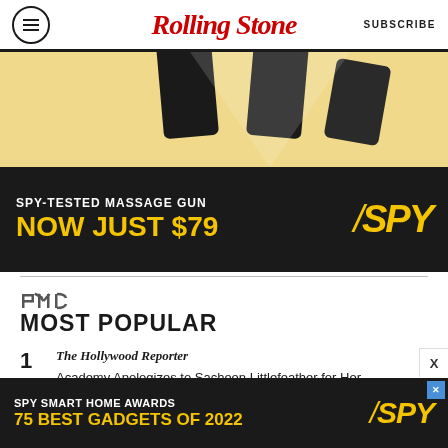Rolling Stone | SUBSCRIBE
[Figure (photo): Advertisement banner for SPY massage gun showing guitar/massage gun imagery with text 'SPY-TESTED MASSAGE GUN NOW JUST $79' and SPY logo on black background with yellow text]
[Figure (logo): PMC logo text]
MOST POPULAR
1. The Hollywood Reporter — Academy Apologizes to Sacheen Littlefeather for Her Mistreatment at the 1973 Oscars (Exclusive)
2. Variety
[Figure (photo): Bottom advertisement banner for SPY Smart Home Awards with text 'SPY SMART HOME AWARDS 75 BEST GADGETS OF 2022' and SPY logo on black background with yellow text]